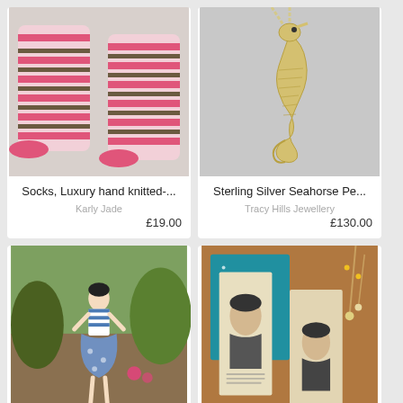[Figure (photo): Pink and brown striped hand knitted socks laid flat on white fabric]
Socks, Luxury hand knitted-...
Karly Jade
£19.00
[Figure (photo): Sterling silver seahorse pendant necklace on silver chain against grey background]
Sterling Silver Seahorse Pe...
Tracy Hills Jewellery
£130.00
[Figure (photo): Handmade cloth doll wearing blue striped top and floral dress, posed in garden setting]
[Figure (photo): Illustrated bookmarks with portrait of a woman, on teal and brown leather backgrounds with dried flowers]